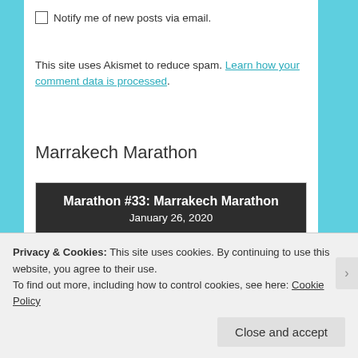Notify me of new posts via email.
This site uses Akismet to reduce spam. Learn how your comment data is processed.
Marrakech Marathon
Marathon #33: Marrakech Marathon
January 26, 2020
My second marathon in Africa. I'm so excited to see another new place!
Privacy & Cookies: This site uses cookies. By continuing to use this website, you agree to their use.
To find out more, including how to control cookies, see here: Cookie Policy